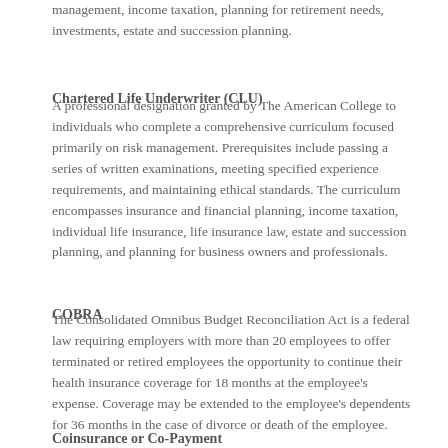management, income taxation, planning for retirement needs, investments, estate and succession planning.
Chartered Life Underwriter (CLU)
A professional designation granted by The American College to individuals who complete a comprehensive curriculum focused primarily on risk management. Prerequisites include passing a series of written examinations, meeting specified experience requirements, and maintaining ethical standards. The curriculum encompasses insurance and financial planning, income taxation, individual life insurance, life insurance law, estate and succession planning, and planning for business owners and professionals.
COBRA
The Consolidated Omnibus Budget Reconciliation Act is a federal law requiring employers with more than 20 employees to offer terminated or retired employees the opportunity to continue their health insurance coverage for 18 months at the employee's expense. Coverage may be extended to the employee's dependents for 36 months in the case of divorce or death of the employee.
Coinsurance or Co-Payment
The amount an insured person must pay for a